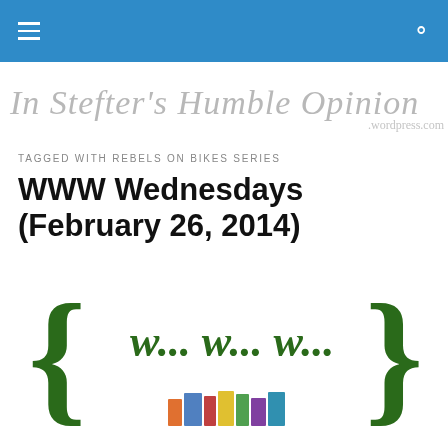In Stefter's Humble Opinion .wordpress.com
TAGGED WITH REBELS ON BIKES SERIES
WWW Wednesdays (February 26, 2014)
[Figure (illustration): WWW Wednesdays logo with large green curly braces and 'W... W... W...' text in dark green serif font, with book spines visible at the bottom]